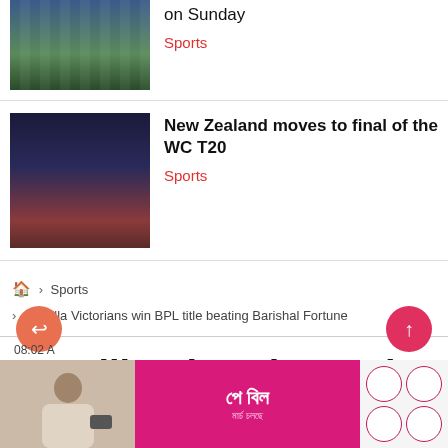[Figure (photo): Cricket match photo showing players on field with sponsor banners (ox, upst, up), partially visible at top]
on Sunday
Sports
[Figure (photo): New Zealand cricketer in black uniform with fern logo, holding bat, celebrating]
New Zealand moves to final of the WC T20
Sports
🏠 > Sports > Cumilla Victorians win BPL title beating Barishal Fortune
Cumilla Victorians win BPL title beating Ba...
[Figure (photo): Advertisement banner showing a man with phone and Bengali text 'পে বিল' on pink background with bKash logo and service icons]